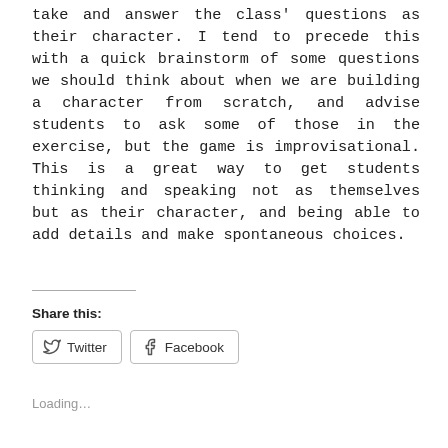take and answer the class' questions as their character. I tend to precede this with a quick brainstorm of some questions we should think about when we are building a character from scratch, and advise students to ask some of those in the exercise, but the game is improvisational. This is a great way to get students thinking and speaking not as themselves but as their character, and being able to add details and make spontaneous choices.
Share this:
Twitter
Facebook
Loading...